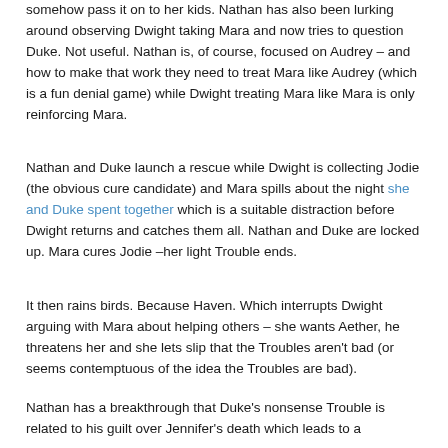somehow pass it on to her kids. Nathan has also been lurking around observing Dwight taking Mara and now tries to question Duke. Not useful. Nathan is, of course, focused on Audrey – and how to make that work they need to treat Mara like Audrey (which is a fun denial game) while Dwight treating Mara like Mara is only reinforcing Mara.
Nathan and Duke launch a rescue while Dwight is collecting Jodie (the obvious cure candidate) and Mara spills about the night she and Duke spent together which is a suitable distraction before Dwight returns and catches them all. Nathan and Duke are locked up. Mara cures Jodie –her light Trouble ends.
It then rains birds. Because Haven. Which interrupts Dwight arguing with Mara about helping others – she wants Aether, he threatens her and she lets slip that the Troubles aren't bad (or seems contemptuous of the idea the Troubles are bad).
Nathan has a breakthrough that Duke's nonsense Trouble is related to his guilt over Jennifer's death which leads to a